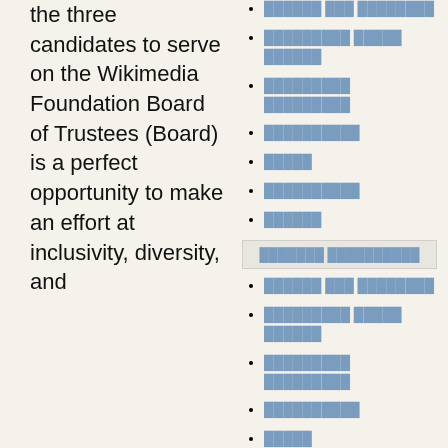the three candidates to serve on the Wikimedia Foundation Board of Trustees (Board) is a perfect opportunity to make an effort at inclusivity, diversity, and
██████ ███ ████████
█████████ █████ ██████
█████████ █████████
██████████
█████
██████████
██████
███████ ██████████
██████ ███ ████████
█████████ █████ ██████
█████████ █████████
██████████
█████
██████████